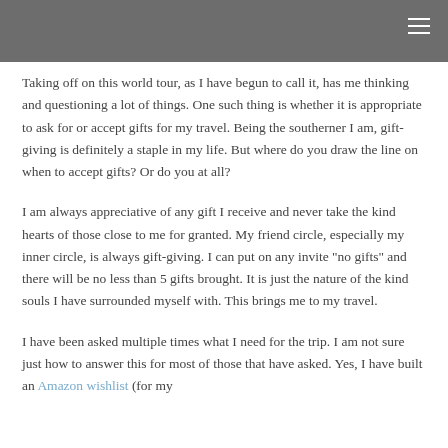Taking off on this world tour, as I have begun to call it, has me thinking and questioning a lot of things. One such thing is whether it is appropriate to ask for or accept gifts for my travel. Being the southerner I am, gift-giving is definitely a staple in my life. But where do you draw the line on when to accept gifts? Or do you at all?
I am always appreciative of any gift I receive and never take the kind hearts of those close to me for granted. My friend circle, especially my inner circle, is always gift-giving. I can put on any invite "no gifts" and there will be no less than 5 gifts brought. It is just the nature of the kind souls I have surrounded myself with. This brings me to my travel.
I have been asked multiple times what I need for the trip. I am not sure just how to answer this for most of those that have asked. Yes, I have built an Amazon wishlist (for my